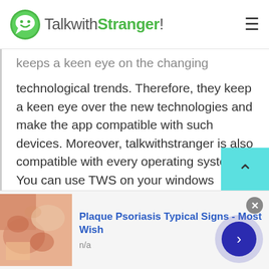TalkwithStranger!
keeps a keen eye on the changing
technological trends. Therefore, they keep a keen eye over the new technologies and make the app compatible with such devices. Moreover, talkwithstranger is also compatible with every operating system. You can use TWS on your windows system, Macintosh, and Linux, etc.
Best for everyone:
It does not matter which age group, income class, or
[Figure (screenshot): Plaque Psoriasis ad banner with skin image, title 'Plaque Psoriasis Typical Signs - Most Wish', subtitle 'n/a', close button (x), and next arrow button]